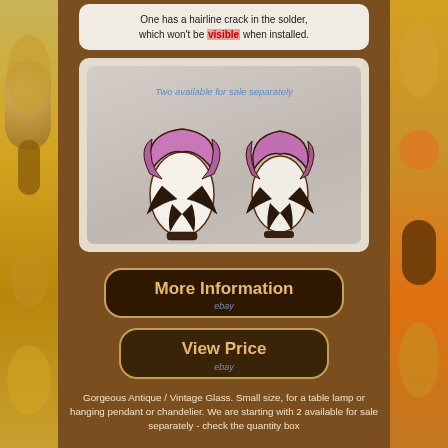[Figure (photo): Top cropped image showing text about a hairline crack in the solder that won't be visible when installed]
One has a hairline crack in the solder, which won't be visible when installed.
[Figure (photo): Two stained glass tulip lamp shades side by side on a white surface. Text overlay reads 'Two available for sale separately'. eBay watermark visible.]
[Figure (other): More Information button with eBay branding]
[Figure (other): View Price button with eBay branding]
Gorgeous Antique / Vintage Glass. Small size, for a table lamp or hanging pendant or chandelier. We are starting with 2 available for sale separately - check the quantity box